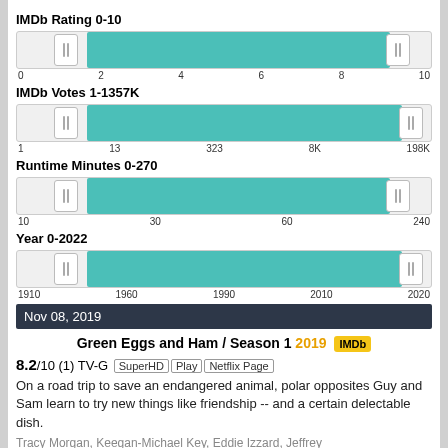IMDb Rating 0-10
[Figure (infographic): Range slider showing IMDb Rating 0-10, with teal fill from left handle to right handle near 9. Tick labels: 0, 2, 4, 6, 8, 10]
IMDb Votes 1-1357K
[Figure (infographic): Range slider showing IMDb Votes 1-1357K, with teal fill spanning most of bar to ~198K. Tick labels: 1, 13, 323, 8K, 198K]
Runtime Minutes 0-270
[Figure (infographic): Range slider showing Runtime Minutes 0-270, with teal fill from left to ~240. Tick labels: 10, 30, 60, 240]
Year 0-2022
[Figure (infographic): Range slider showing Year 0-2022, with teal fill from ~1910 to ~2020. Tick labels: 1910, 1960, 1990, 2010, 2020]
Nov 08, 2019
Green Eggs and Ham / Season 1 2019 IMDb
8.2/10 (1) TV-G SuperHD Play Netflix Page
On a road trip to save an endangered animal, polar opposites Guy and Sam learn to try new things like friendship -- and a certain delectable dish.
Tracy Morgan, Keegan-Michael Key, Eddie Izzard, Jeffrey